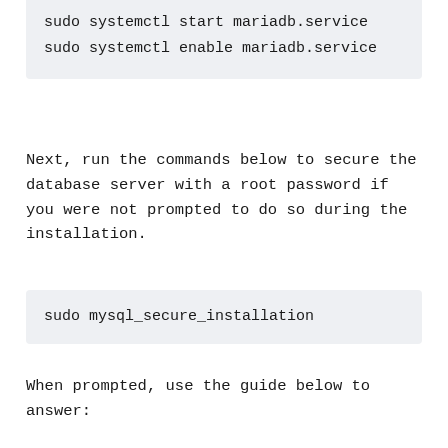sudo systemctl start mariadb.service
sudo systemctl enable mariadb.service
Next, run the commands below to secure the database server with a root password if you were not prompted to do so during the installation.
sudo mysql_secure_installation
When prompted, use the guide below to answer: